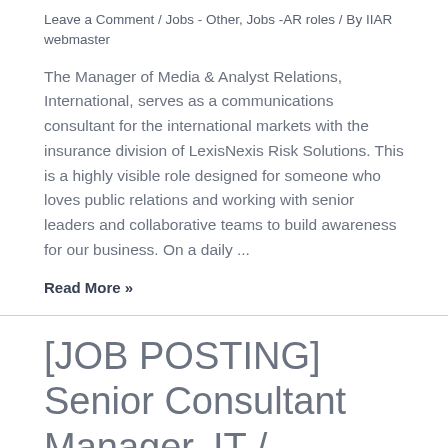Leave a Comment / Jobs - Other, Jobs -AR roles / By IIAR webmaster
The Manager of Media & Analyst Relations, International, serves as a communications consultant for the international markets with the insurance division of LexisNexis Risk Solutions. This is a highly visible role designed for someone who loves public relations and working with senior leaders and collaborative teams to build awareness for our business. On a daily ...
Read More »
[JOB POSTING] Senior Consultant Manager, IT / London, UK
Leave a Comment / Jobs - Other, Jobs -Analyst roles / By